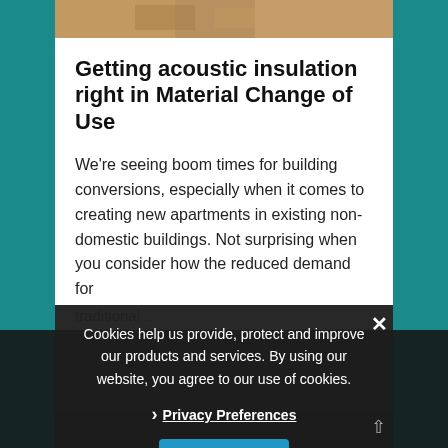[Figure (photo): Construction site photograph showing wooden framing/structure, teal side borders flanking the image.]
Getting acoustic insulation right in Material Change of Use
We're seeing boom times for building conversions, especially when it comes to creating new apartments in existing non-domestic buildings. Not surprising when you consider how the reduced demand for traditional ...
Cookies help us provide, protect and improve our products and services. By using our website, you agree to our use of cookies.
› Privacy Preferences
I Agree